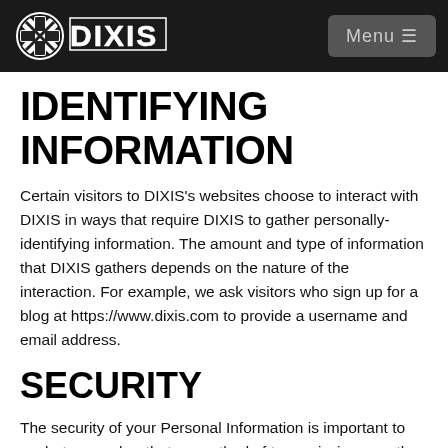DIXIS | Menu
IDENTIFYING INFORMATION
Certain visitors to DIXIS's websites choose to interact with DIXIS in ways that require DIXIS to gather personally-identifying information. The amount and type of information that DIXIS gathers depends on the nature of the interaction. For example, we ask visitors who sign up for a blog at https://www.dixis.com to provide a username and email address.
SECURITY
The security of your Personal Information is important to us, but remember that no method of transmission over the Internet, or method of electronic storage is 100% secure. While we strive to use commercially acceptable means to protect your Personal Information, we cannot guarantee its absolute security.